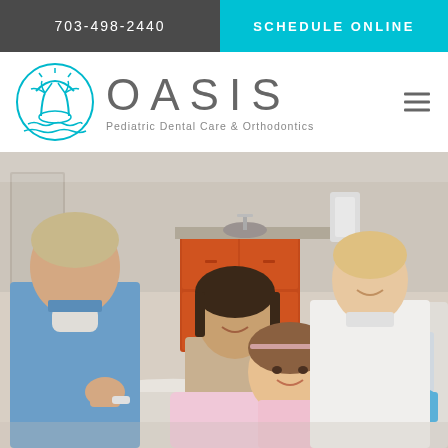703-498-2440 | SCHEDULE ONLINE
[Figure (logo): Oasis Pediatric Dental Care & Orthodontics logo with teal palm tree / wave circle icon and large OASIS text]
[Figure (photo): Dental office scene with a male dentist in blue scrubs, a smiling woman/mother, a young girl patient in a dental chair, and a female dental assistant in white uniform standing in the background]